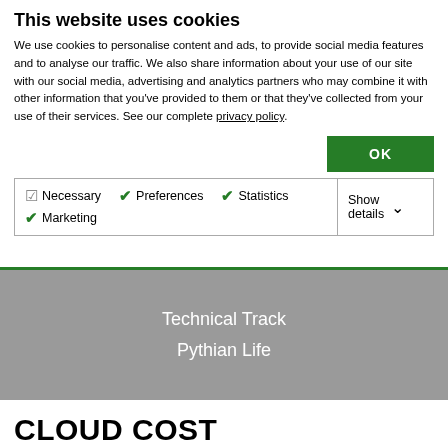This website uses cookies
We use cookies to personalise content and ads, to provide social media features and to analyse our traffic. We also share information about your use of our site with our social media, advertising and analytics partners who may combine it with other information that you've provided to them or that they've collected from your use of their services. See our complete privacy policy.
OK
✓ Necessary  ✓ Preferences  ✓ Statistics  ✓ Marketing  Show details ▾
Technical Track
Pythian Life
CLOUD COST MANAGEMENT AND